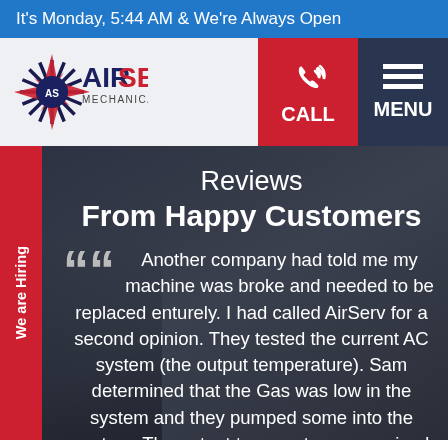It's Monday, 5:44 AM & We're Always Open
[Figure (logo): AirServ Mechanical Group logo with snowflake/star icon and red/blue text]
CALL
MENU
We are Hiring
Reviews
From Happy Customers
Another company had told me my machine was broke and needed to be replaced enturely. I had called AirServ for a second opinion. They tested the current AC system (the output temperature). Sam determined that the Gas was low in the system and they pumped some into the system. The output temperature was raised by over 10 degrees. I didnt have to